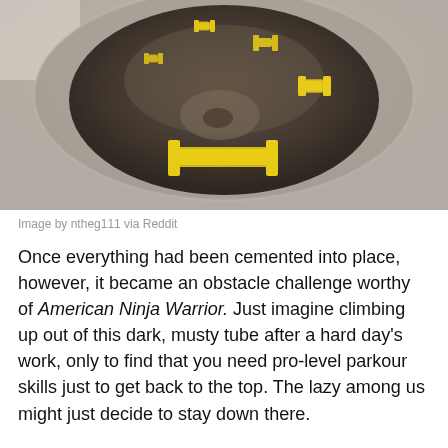[Figure (photo): Looking down into a circular concrete tube or manhole shaft. Yellow U-shaped metal rungs/staples are embedded in the concrete walls at intervals, spiraling downward into the dark interior. The view is from above looking down.]
Image by ntheg111 via Reddit
Once everything had been cemented into place, however, it became an obstacle challenge worthy of American Ninja Warrior. Just imagine climbing up out of this dark, musty tube after a hard day's work, only to find that you need pro-level parkour skills just to get back to the top. The lazy among us might just decide to stay down there.